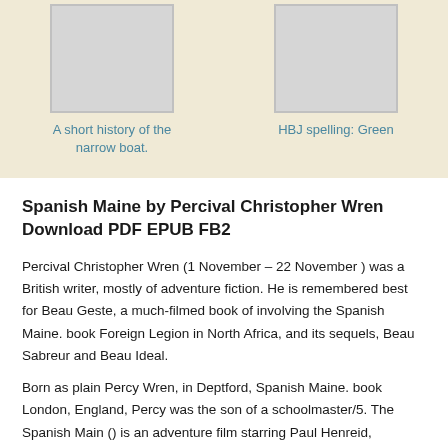[Figure (illustration): Book cover placeholder image for 'A short history of the narrow boat.']
A short history of the narrow boat.
[Figure (illustration): Book cover placeholder image for 'HBJ spelling: Green']
HBJ spelling: Green
Spanish Maine by Percival Christopher Wren Download PDF EPUB FB2
Percival Christopher Wren (1 November – 22 November ) was a British writer, mostly of adventure fiction. He is remembered best for Beau Geste, a much-filmed book of involving the Spanish Maine. book Foreign Legion in North Africa, and its sequels, Beau Sabreur and Beau Ideal.
Born as plain Percy Wren, in Deptford, Spanish Maine. book London, England, Percy was the son of a schoolmaster/5. The Spanish Main () is an adventure film starring Paul Henreid, Maureen O'Hara, Walter